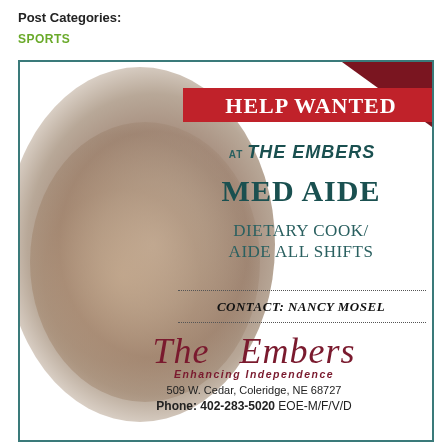Post Categories:
SPORTS
[Figure (infographic): Help Wanted advertisement for The Embers. Shows hands holding in background circle, red Help Wanted banner, positions: Med Aide, Dietary Cook/Aide All Shifts, Contact: Nancy Mosel. The Embers logo with address 509 W. Cedar, Coleridge, NE 68727, Phone: 402-283-5020 EOE-M/F/V/D]